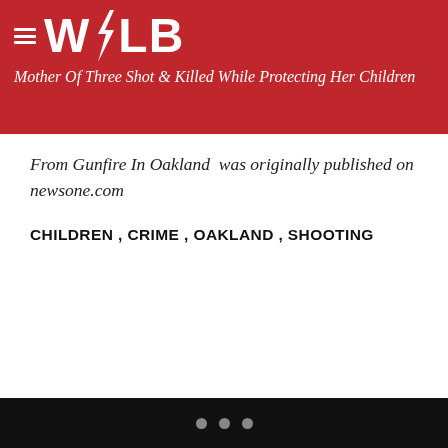WOLB — Mother Of Three Shot & Killed While Protecting Her Children From Gunfire In Oakland
Mother Of Three Shot & Killed While Protecting Her Children From Gunfire In Oakland  was originally published on newsone.com
CHILDREN , CRIME , OAKLAND , SHOOTING